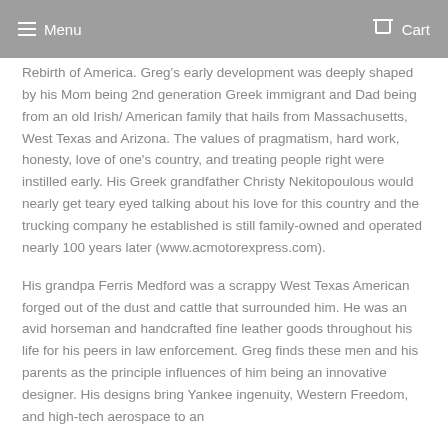Menu   Cart
Rebirth of America. Greg's early development was deeply shaped by his Mom being 2nd generation Greek immigrant and Dad being from an old Irish/ American family that hails from Massachusetts, West Texas and Arizona. The values of pragmatism, hard work, honesty, love of one's country, and treating people right were instilled early. His Greek grandfather Christy Nekitopoulous would nearly get teary eyed talking about his love for this country and the trucking company he established is still family-owned and operated nearly 100 years later (www.acmotorexpress.com).
His grandpa Ferris Medford was a scrappy West Texas American forged out of the dust and cattle that surrounded him. He was an avid horseman and handcrafted fine leather goods throughout his life for his peers in law enforcement. Greg finds these men and his parents as the principle influences of him being an innovative designer. His designs bring Yankee ingenuity, Western Freedom, and high-tech aerospace to an